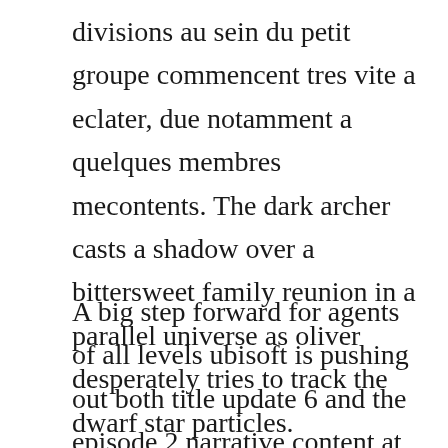divisions au sein du petit groupe commencent tres vite a eclater, due notamment a quelques membres mecontents. The dark archer casts a shadow over a bittersweet family reunion in a parallel universe as oliver desperately tries to track the dwarf star particles.
A big step forward for agents of all levels ubisoft is pushing out both title update 6 and the episode 2 narrative content at the same time, and. Serie the originals manga haikyuu saison 2 streaming episode 01 vf vostfr skip ad download. Vikings saison 4 cpasbien films